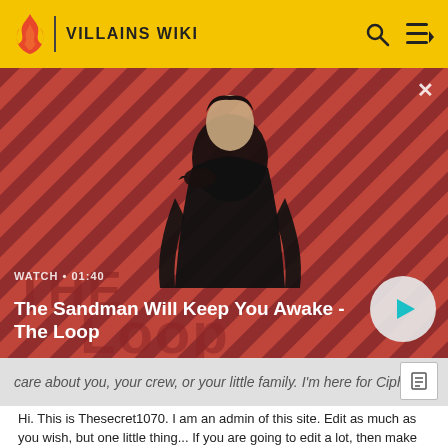VILLAINS WIKI
[Figure (screenshot): Video thumbnail for 'The Sandman Will Keep You Awake - The Loop' showing a man in black with a crow on his shoulder against a red diagonal striped background. Watch • 01:40 label and play button visible.]
care about you, your crew, or your little family. I'm here for Cipher.
Hi. This is Thesecret1070. I am an admin of this site. Edit as much as you wish, but one little thing... If you are going to edit a lot, then make yourself a user and login. Other than that, enjoy Villains Wiki!!!